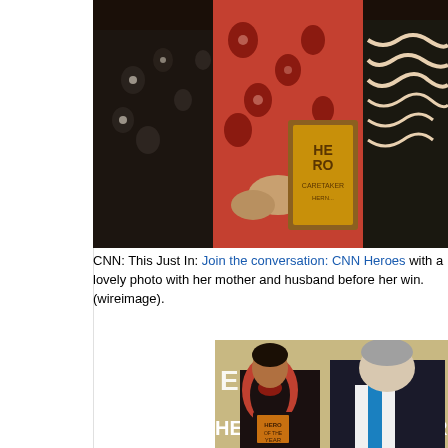[Figure (photo): Top cropped photo showing people at CNN Heroes event, elderly woman holding a CNN Heroes award plaque, wearing floral and patterned clothing]
CNN: This Just In: Join the conversation: CNN Heroes with a lovely photo with her mother and husband before her win.(wireimage).
[Figure (photo): Bottom photo showing a woman in patterned clothing holding a CNN Hero of the Year award, posing with Anderson Cooper in a dark suit and blue tie, in front of CNN Heroes backdrop]